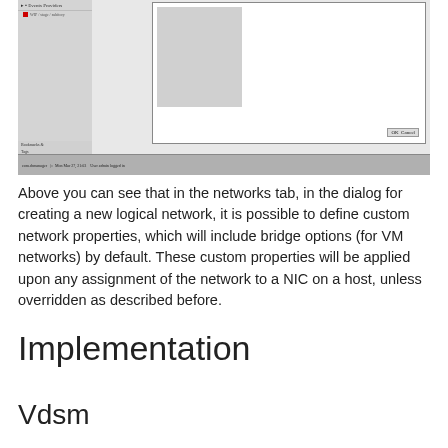[Figure (screenshot): Screenshot of a software UI showing a networks tab dialog for creating a new logical network. Left panel shows 'Events Providers' tree item with a red square icon labeled 'WIP / stage / subitory'. Main area shows a dialog box with a white panel and gray inner panel. Bottom bar shows status text and breadcrumb labels. OK and Cancel buttons visible in dialog.]
Above you can see that in the networks tab, in the dialog for creating a new logical network, it is possible to define custom network properties, which will include bridge options (for VM networks) by default. These custom properties will be applied upon any assignment of the network to a NIC on a host, unless overridden as described before.
Implementation
Vdsm